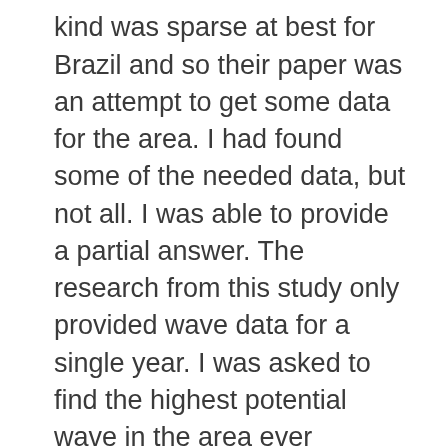noted that wave data of this kind was sparse at best for Brazil and so their paper was an attempt to get some data for the area. I had found some of the needed data, but not all. I was able to provide a partial answer. The research from this study only provided wave data for a single year. I was asked to find the highest potential wave in the area ever recorded. These are the problems faced by professional research and analysis experts: sometimes the answer is, “this data doesn’t exist.” In a world filled to the brim with data and near unlimited ability to find knowledge through the internet, this answer is unsatisfying and often hard to believe.